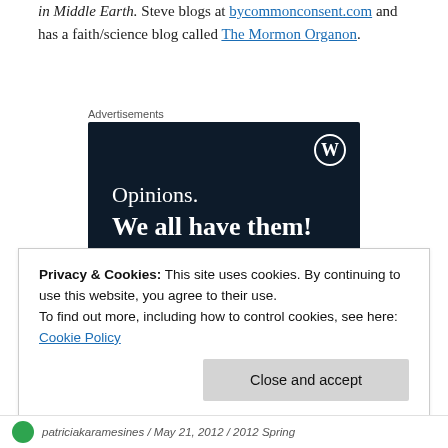in Middle Earth. Steve blogs at bycommonconsent.com and has a faith/science blog called The Mormon Organon.
Advertisements
[Figure (illustration): WordPress advertisement banner with dark navy background. WordPress logo (W in circle) top right. Text reads 'Opinions. We all have them!' in white serif font. Pink button and circular avatar partially visible at bottom.]
Privacy & Cookies: This site uses cookies. By continuing to use this website, you agree to their use.
To find out more, including how to control cookies, see here:
Cookie Policy
patriciakaramesines / May 21, 2012 / 2012 Spring